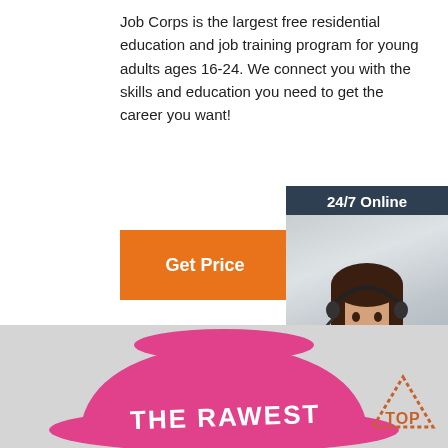Job Corps is the largest free residential education and job training program for young adults ages 16-24. We connect you with the skills and education you need to get the career you want!
[Figure (other): Orange 'Get Price' button]
[Figure (other): 24/7 Online chat widget with woman wearing headset, 'Click here for free chat!' and orange QUOTATION button]
[Figure (photo): Pink bucket hat with 'THE RAWEST' text in white, and a 'TOP' badge logo in the bottom right corner]